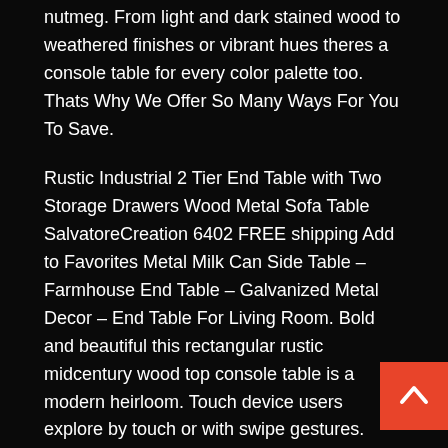nutmeg. From light and dark stained wood to weathered finishes or vibrant hues theres a console table for every color palette too. Thats Why We Offer So Many Ways For You To Save.
Rustic Industrial 2 Tier End Table with Two Storage Drawers Wood Metal Sofa Table SalvatoreCreation 6402 FREE shipping Add to Favorites Metal Milk Can Side Table – Farmhouse End Table – Galvanized Metal Decor – End Table For Living Room. Bold and beautiful this rectangular rustic midcentury wood top console table is a modern heirloom. Touch device users explore by touch or with swipe gestures.
Baxton Studio Caribou Rustic Industrial Style Metal Console Table. Amounts shown in italicized text are items listed in currency other than Canadian dollars and